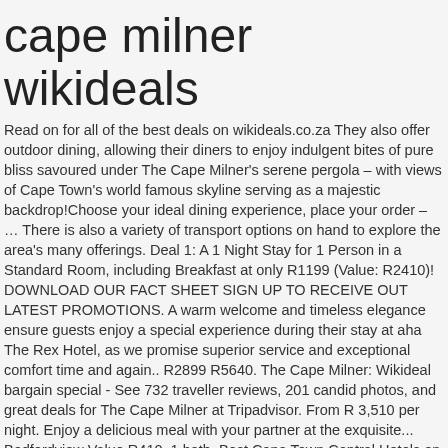cape milner wikideals
Read on for all of the best deals on wikideals.co.za They also offer outdoor dining, allowing their diners to enjoy indulgent bites of pure bliss savoured under The Cape Milner's serene pergola – with views of Cape Town's world famous skyline serving as a majestic backdrop!Choose your ideal dining experience, place your order – … There is also a variety of transport options on hand to explore the area's many offerings. Deal 1: A 1 Night Stay for 1 Person in a Standard Room, including Breakfast at only R1199 (Value: R2410)! DOWNLOAD OUR FACT SHEET SIGN UP TO RECEIVE OUT LATEST PROMOTIONS. A warm welcome and timeless elegance ensure guests enjoy a special experience during their stay at aha The Rex Hotel, as we promise superior service and exceptional comfort time and again.. R2899 R5640. The Cape Milner: Wikideal bargain special - See 732 traveller reviews, 201 candid photos, and great deals for The Cape Milner at Tripadvisor. From R 3,510 per night. Enjoy a delicious meal with your partner at the exquisite... Bedfordview Value R410. 1 bath. Best Cape Town Central Hotels on Tripadvisor: Find 15 800 traveller reviews, 7,755 candid photos, and prices for hotels in Cape Town Central, Western Cape, South Africa. Subscribe now to get our daily specials straight to your inbox! Filter wikideals Deals by: ... a Luxury Gateway, including a